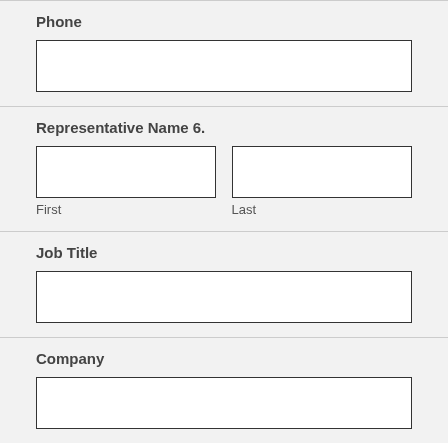Phone
[Phone input field]
Representative Name 6.
First  Last
Job Title
[Job Title input field]
Company
[Company input field]